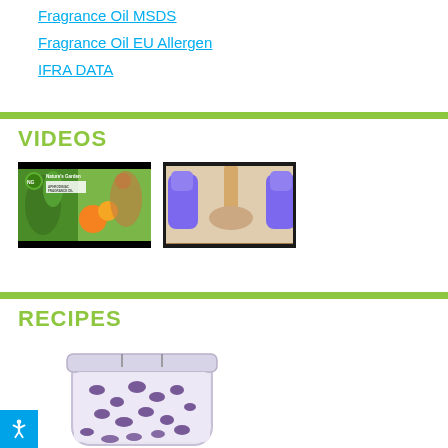Fragrance Oil MSDS
Fragrance Oil EU Allergen
IFRA DATA
VIDEOS
[Figure (photo): Nature's Garden Aphrodisiac Fragrance Oil promotional video thumbnail with logo and woman]
[Figure (photo): Video thumbnail showing purple gloved hands pouring liquid]
RECIPES
[Figure (photo): Candle in a glass jar with purple leopard print pattern]